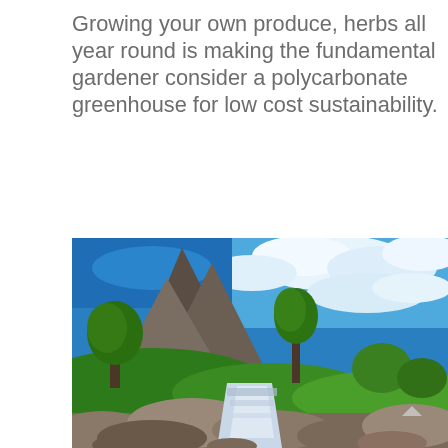Growing your own produce, herbs all year round is making the fundamental gardener consider a polycarbonate greenhouse for low cost sustainability.
[Figure (photo): Scenic landscape photograph showing a rocky mountain stream with cascading waterfalls in the foreground, lush green trees and hillsides in the middle ground, a rugged rocky mountain peak, and a dramatic blue sky with white clouds.]